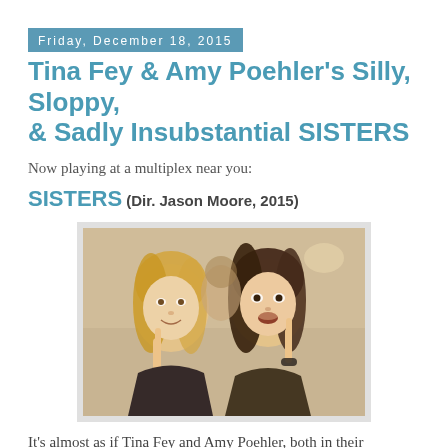Friday, December 18, 2015
Tina Fey & Amy Poehler's Silly, Sloppy, & Sadly Insubstantial SISTERS
Now playing at a multiplex near you:
SISTERS (Dir. Jason Moore, 2015)
[Figure (photo): Two women at a party — a blonde woman on the left and a brunette woman on the right, both making expressive faces with one finger raised]
It's almost as if Tina Fey and Amy Poehler, both in their